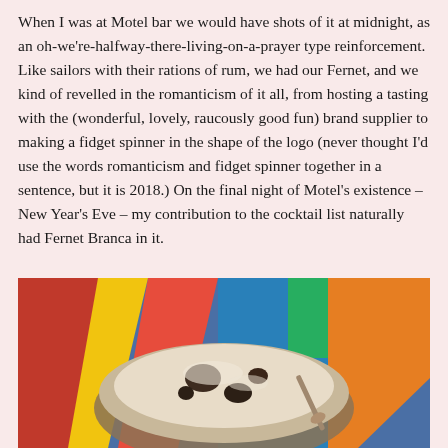When I was at Motel bar we would have shots of it at midnight, as an oh-we're-halfway-there-living-on-a-prayer type reinforcement. Like sailors with their rations of rum, we had our Fernet, and we kind of revelled in the romanticism of it all, from hosting a tasting with the (wonderful, lovely, raucously good fun) brand supplier to making a fidget spinner in the shape of the logo (never thought I'd use the words romanticism and fidget spinner together in a sentence, but it is 2018.) On the final night of Motel's existence – New Year's Eve – my contribution to the cocktail list naturally had Fernet Branca in it.
[Figure (photo): A bowl of what appears to be ice cream or a creamy dessert with dark pieces mixed in, viewed from above. Colorful fabric with red, blue, yellow and green pattern visible in the background.]